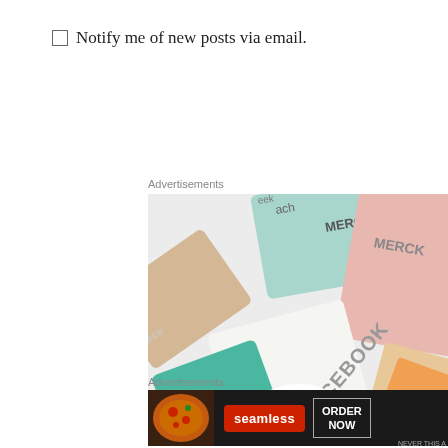Notify me of new posts via email.
Advertisements
[Figure (screenshot): Advertisement banner showing a mosaic of brand logos and marketing materials including Meta, Facebook, Merck logos with text 'We're the WordPress CMS']
Advertisements
[Figure (screenshot): Seamless food delivery advertisement banner on dark background with pizza image, Seamless red logo badge, and ORDER NOW button]